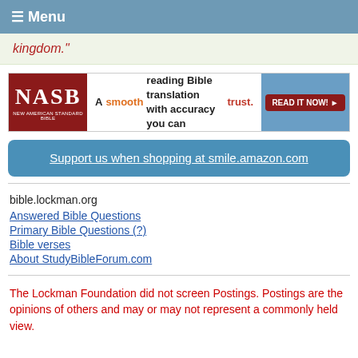≡ Menu
kingdom."
[Figure (screenshot): NASB Bible advertisement: 'A smooth reading Bible translation with accuracy you can trust.' with a READ IT NOW button]
Support us when shopping at smile.amazon.com
bible.lockman.org
Answered Bible Questions
Primary Bible Questions (?)
Bible verses
About StudyBibleForum.com
The Lockman Foundation did not screen Postings. Postings are the opinions of others and may or may not represent a commonly held view.